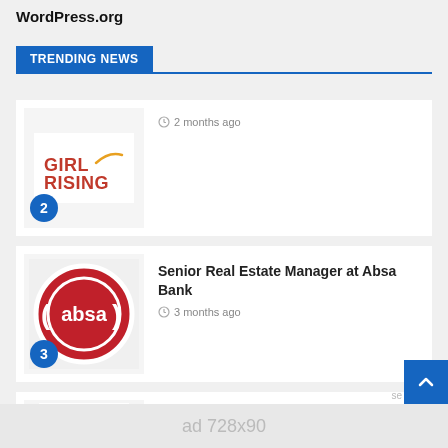WordPress.org
TRENDING NEWS
[Figure (logo): Girl Rising logo with yellow swoosh and blue circle badge numbered 2]
2 months ago
[Figure (logo): Absa Bank circular red logo with white (absa) text and blue circle badge numbered 3]
Senior Real Estate Manager at Absa Bank
3 months ago
[Figure (logo): Partial orange/rainbow logo for Landtours listing]
Open Position At Landtours
ad 728x90